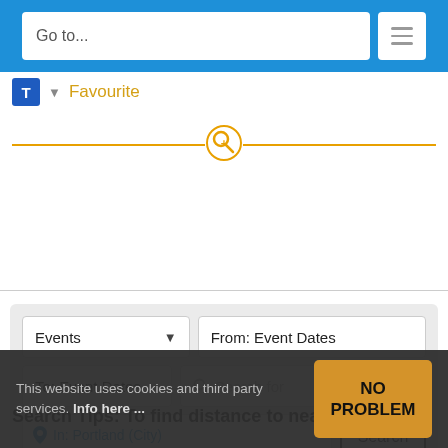Go to...
T ▼ Favourite
[Figure (infographic): Orange horizontal divider line with magnifying glass plus icon in center]
[Figure (screenshot): Search form with Events dropdown, From/To Event Dates fields, Search for field, In: Portland (City) location, and Search button]
Search Tips:  To find distance to nearest
This website uses cookies and third party services. Info here ...
NO PROBLEM